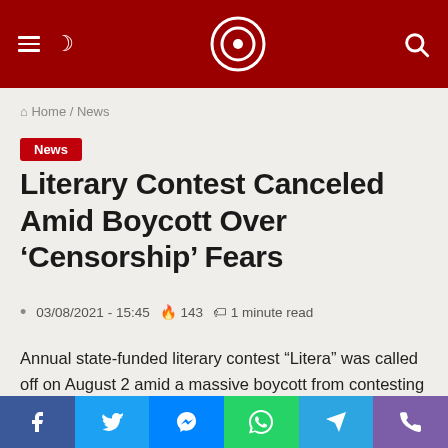Navigation header with logo, hamburger menu, moon icon, and search icon
Home / News
News
Literary Contest Canceled Amid Boycott Over ‘Censorship’ Fears
03/08/2021 - 15:45  143  1 minute read
Annual state-funded literary contest “Litera” was called off on August 2 amid a massive boycott from contesting writers and jury members protesting “attempted
Social share buttons: Facebook, Twitter, Messenger, WhatsApp, Telegram, Phone